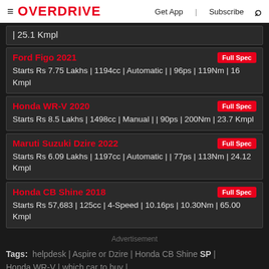OVERDRIVE | Get App | Subscribe
| 25.1 Kmpl
Ford Figo 2021 | Full Spec
Starts Rs 7.75 Lakhs | 1194cc | Automatic | | 96ps | 119Nm | 16 Kmpl
Honda WR-V 2020 | Full Spec
Starts Rs 8.5 Lakhs | 1498cc | Manual | | 90ps | 200Nm | 23.7 Kmpl
Maruti Suzuki Dzire 2022 | Full Spec
Starts Rs 6.09 Lakhs | 1197cc | Automatic | | 77ps | 113Nm | 24.12 Kmpl
Honda CB Shine 2018 | Full Spec
Starts Rs 57,683 | 125cc | 4-Speed | 10.16ps | 10.30Nm | 65.00 Kmpl
Advertisement
Tags: helpdesk | Aspire or Dzire | Honda CB Shine SP | Honda WR-V | which car to buy |